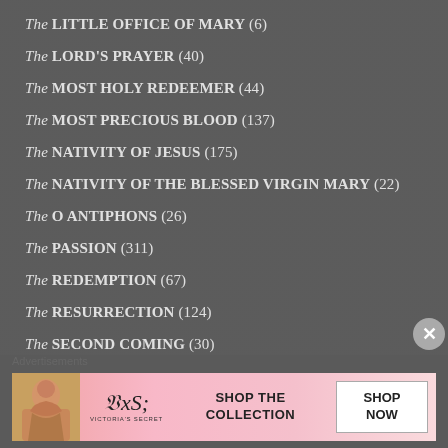The LITTLE OFFICE of MARY (6)
The LORD'S PRAYER (40)
The MOST HOLY REDEEMER (44)
The MOST PRECIOUS BLOOD (137)
The NATIVITY of JESUS (175)
The NATIVITY of the BLESSED VIRGIN MARY (22)
The O ANTIPHONS (26)
The PASSION (311)
The REDEMPTION (67)
The RESURRECTION (124)
The SECOND COMING (30)
Advertisements
[Figure (photo): Victoria's Secret advertisement banner with model, VS logo, and 'SHOP THE COLLECTION / SHOP NOW' text]